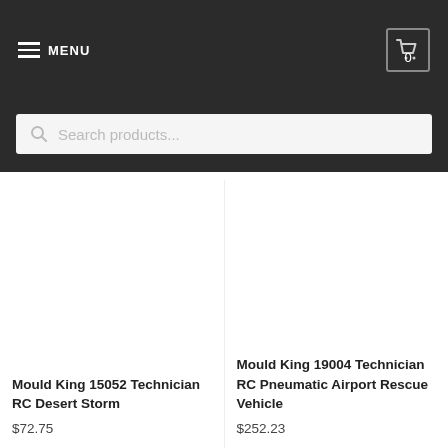MENU | 0
Search products...
Mould King 15052 Technician RC Desert Storm
$72.75
Mould King 19004 Technician RC Pneumatic Airport Rescue Vehicle
$252.23